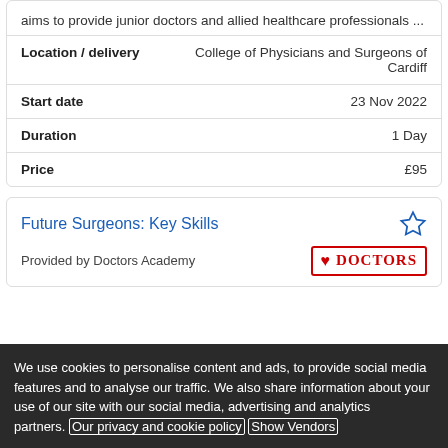aims to provide junior doctors and allied healthcare professionals ...
| Field | Value |
| --- | --- |
| Location / delivery | College of Physicians and Surgeons of Cardiff |
| Start date | 23 Nov 2022 |
| Duration | 1 Day |
| Price | £95 |
Future Surgeons: Key Skills
Provided by Doctors Academy
We use cookies to personalise content and ads, to provide social media features and to analyse our traffic. We also share information about your use of our site with our social media, advertising and analytics partners. Our privacy and cookie policy Show Vendors